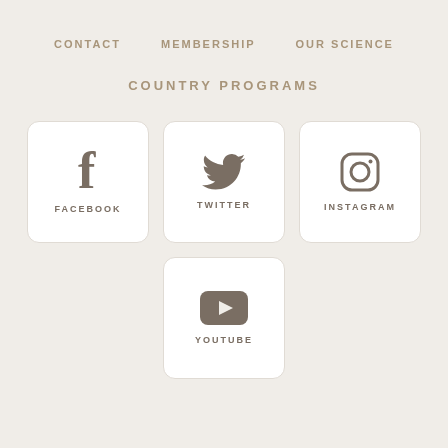CONTACT   MEMBERSHIP   OUR SCIENCE
COUNTRY PROGRAMS
[Figure (logo): Facebook social media icon with letter f and label FACEBOOK]
[Figure (logo): Twitter social media icon with bird and label TWITTER]
[Figure (logo): Instagram social media icon with camera outline and label INSTAGRAM]
[Figure (logo): YouTube social media icon with play button and label YOUTUBE]